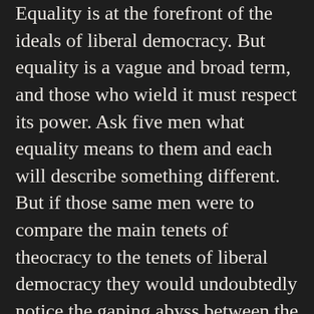Equality is at the forefront of the ideals of liberal democracy. But equality is a vague and broad term, and those who wield it must respect its power. Ask five men what equality means to them and each will describe something different. But if those same men were to compare the main tenets of theocracy to the tenets of liberal democracy they would undoubtedly notice the gaping abyss between the two.
Since god was always present in American language, was it necessary for him to be? Theocracy is government by god and for god